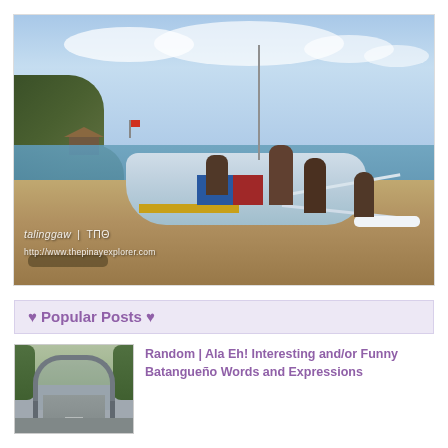[Figure (photo): Beach scene with a traditional Filipino outrigger boat (bangka) being pushed or pulled by people at the shoreline. Rocky cliff with vegetation and a hut visible on the left, calm sea in the background, sandy beach in foreground. Watermark reads 'talinggaw | ΤΠΘ' and 'http://www.thepinayexplorer.com']
♥ Popular Posts ♥
[Figure (photo): Thumbnail photo showing a concrete arch gateway or entrance portal with a road leading through it, flanked by trees/vegetation]
Random | Ala Eh! Interesting and/or Funny Batangueño Words and Expressions